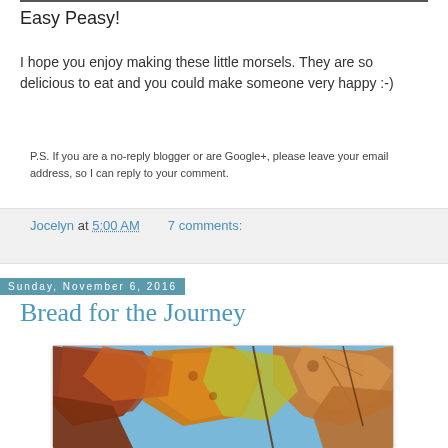Easy Peasy!
I hope you enjoy making these little morsels. They are so delicious to eat and you could make someone very happy :-)
P.S.  If you are a no-reply blogger or are Google+, please leave your email address, so I can reply to your comment.
Jocelyn at 5:00 AM    7 comments:
Sunday, November 6, 2016
Bread for the Journey
[Figure (photo): Autumn leaves with orange, red, brown, and yellow colors against a blue sky background]